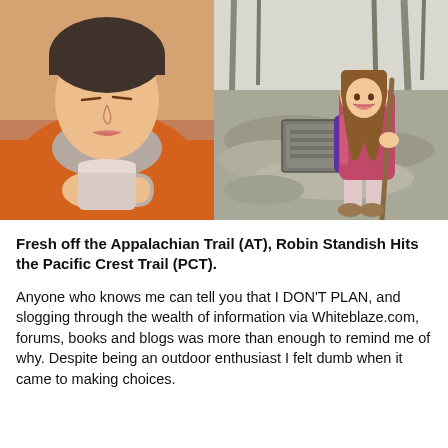[Figure (photo): Two side-by-side photos. Left: close-up of a young woman in an orange jacket and dark beanie, eyes closed/looking up, holding a metal camping cup. Warm tones, selfie style. Right: a young woman with long brown hair wearing a purple tank top and pink/red backpack, holding a walking stick, standing next to a trail marker plaque on rocks in a wooded area. Natural daylight, trail setting.]
Fresh off the Appalachian Trail (AT), Robin Standish Hits the Pacific Crest Trail (PCT).
Anyone who knows me can tell you that I DON’T PLAN, and slogging through the wealth of information via Whiteblaze.com, forums, books and blogs was more than enough to remind me of why. Despite being an outdoor enthusiast I felt dumb when it came to making choices.